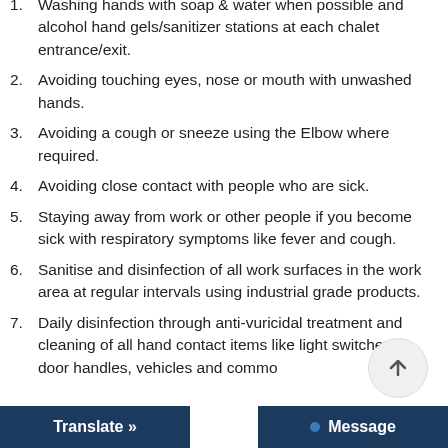1. Washing hands with soap & water when possible and alcohol hand gels/sanitizer stations at each chalet entrance/exit.
2. Avoiding touching eyes, nose or mouth with unwashed hands.
3. Avoiding a cough or sneeze using the Elbow where required.
4. Avoiding close contact with people who are sick.
5. Staying away from work or other people if you become sick with respiratory symptoms like fever and cough.
6. Sanitise and disinfection of all work surfaces in the work area at regular intervals using industrial grade products.
7. Daily disinfection through anti-vuricidal treatment and cleaning of all hand contact items like light switches, door handles, vehicles and common areas.
Translate »   Message